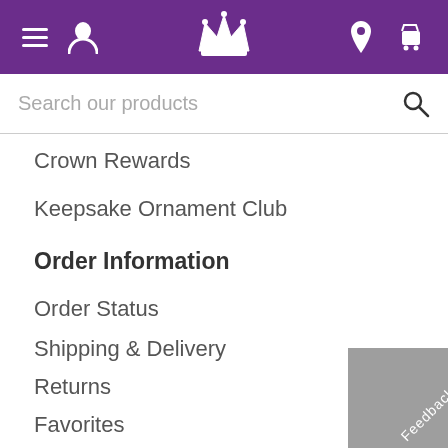[Figure (screenshot): Purple navigation bar with hamburger menu icon, user icon on the left, crown logo in the center, location pin and shopping cart icons on the right]
Search our products
Crown Rewards
Keepsake Ornament Club
Order Information
Order Status
Shipping & Delivery
Returns
Favorites
Our Company
About Us